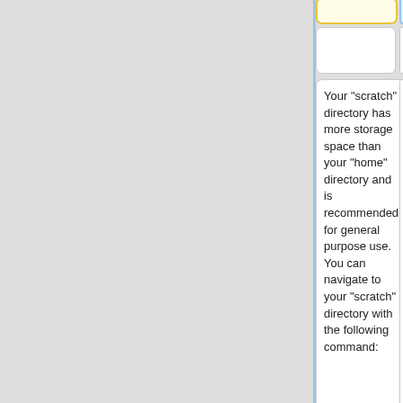Your "scratch" directory has more storage space than your "home" directory and is recommended for general purpose use. You can navigate to your "scratch" directory with the following command:
Your "scratch" directory has more storage space than your "home" directory and is recommended for general purpose use. You can navigate to your "scratch" directory with the following command:
[NetID@terra1 ~]$ cd /scratch/user/[NetID]
[NetID@terra1 ~]$ """cd /scratch/user/""NetID""""